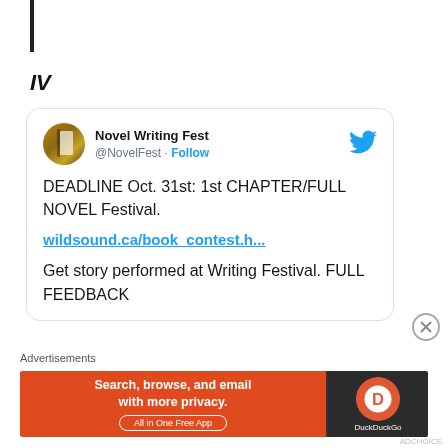IV
[Figure (screenshot): Tweet from Novel Writing Fest (@NovelFest) with Follow button and Twitter bird logo. Tweet text: DEADLINE Oct. 31st: 1st CHAPTER/FULL NOVEL Festival. wildsound.ca/book_contest.h... Get story performed at Writing Festival. FULL FEEDBACK]
Advertisements
[Figure (screenshot): DuckDuckGo advertisement banner: orange left side with text 'Search, browse, and email with more privacy. All in One Free App' and dark right side with DuckDuckGo logo]